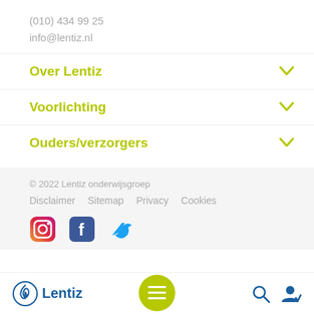(010) 434 99 25
info@lentiz.nl
Over Lentiz
Voorlichting
Ouders/verzorgers
© 2022 Lentiz onderwijsgroep
Disclaimer   Sitemap   Privacy   Cookies
[Figure (logo): Social media icons: Instagram, Facebook, Twitter]
[Figure (logo): Lentiz logo with circular flame icon, hamburger menu button (yellow-green circle), search icon, and user icon in bottom navigation bar]